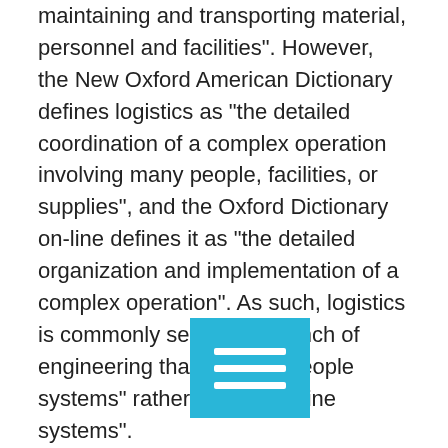maintaining and transporting material, personnel and facilities". However, the New Oxford American Dictionary defines logistics as "the detailed coordination of a complex operation involving many people, facilities, or supplies", and the Oxford Dictionary on-line defines it as "the detailed organization and implementation of a complex operation". As such, logistics is commonly seen as a branch of engineering that creates "people systems" rather than "machine systems".
According to the Council of Supply Chain Management Professionals (previously the Council of Logistics Management), logistics is the process of planning, implementing, and controlling procedures for the efficient and effective transportation and
[Figure (other): Blue rectangle overlay icon with three white horizontal lines, resembling a menu/hamburger icon]